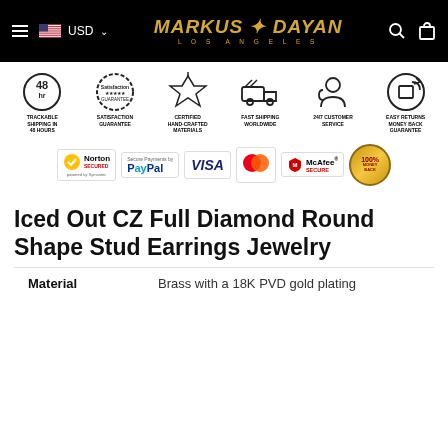Markus Dayan Los Angeles — USD
[Figure (infographic): Six service trust badge icons: Trackable Shipping in 48 Hours, Satisfaction Guarantee, Certified Hand-Crafted Materials, Fast Shipping Worldwide, 24/7 Customer Service, Easy Returns Money Back Guarantee. Below: Norton Secured, PayPal, VISA, Mastercard, McAfee Secure, 100% Money Back logos.]
Iced Out CZ Full Diamond Round Shape Stud Earrings Jewelry
Material    Brass with a 18K PVD gold plating